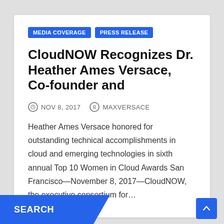MEDIA COVERAGE | PRESS RELEASE
CloudNOW Recognizes Dr. Heather Ames Versace, Co-founder and
NOV 8, 2017   MAXVERSACE
Heather Ames Versace honored for outstanding technical accomplishments in cloud and emerging technologies in sixth annual Top 10 Women in Cloud Awards San Francisco—November 8, 2017—CloudNOW, the executive consortium for…
SEARCH